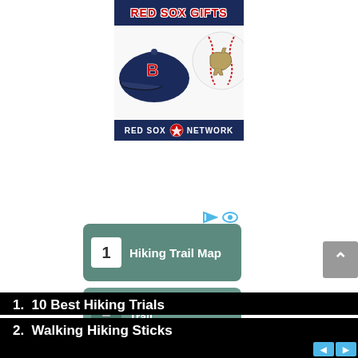[Figure (illustration): Red Sox Gifts advertisement banner with navy blue background, red text reading 'RED SOX GIFTS', a baseball cap with Boston B logo, a baseball with Red Sox cleats logo, and 'RED SOX NETWORK' bar at bottom.]
[Figure (screenshot): Search widget panel with teal/green background showing item 1: 'Hiking Trail Map' with white number box and item 2 partially visible: 'Superior Hiking' with number 2 box. Icons for play and eye above the widget. Gray scroll-up button on right.]
1.  10 Best Hiking Trials
2.  Walking Hiking Sticks